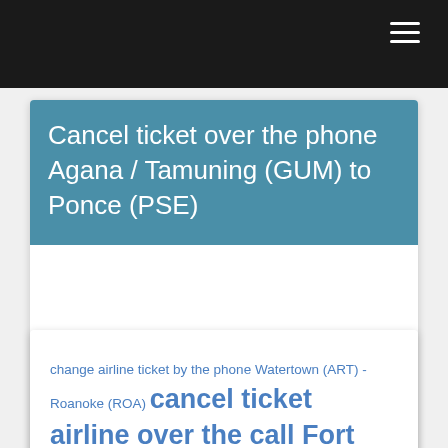Cancel ticket over the phone Agana / Tamuning (GUM) to Ponce (PSE)
change airline ticket by the phone Watertown (ART) - Roanoke (ROA) cancel ticket airline over the call Fort Smith (FSM) to Columbia (COU) booking airline by the call Daytona Beach (DAB)